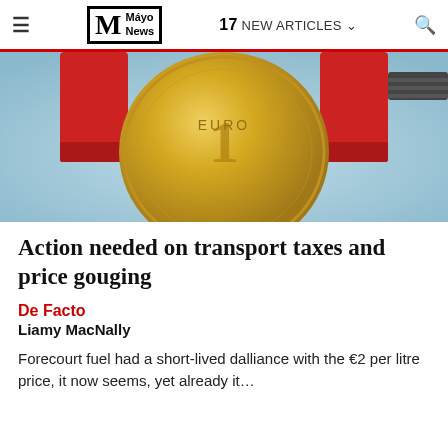≡  M Mayo News  17 NEW ARTICLES ∨  🔍
[Figure (photo): Close-up photo of a 1 Euro coin being squeezed in a red and black industrial clamp/vice, against a light blue background]
Action needed on transport taxes and price gouging
De Facto
Liamy MacNally
Forecourt fuel had a short-lived dalliance with the €2 per litre price, it now seems, yet already it ...